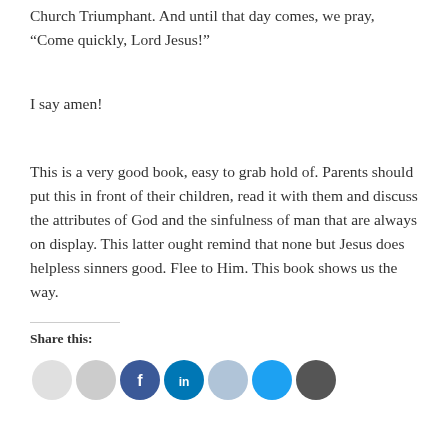Church Triumphant. And until that day comes, we pray, “Come quickly, Lord Jesus!”
I say amen!
This is a very good book, easy to grab hold of. Parents should put this in front of their children, read it with them and discuss the attributes of God and the sinfulness of man that are always on display. This latter ought remind that none but Jesus does helpless sinners good. Flee to Him. This book shows us the way.
Share this: